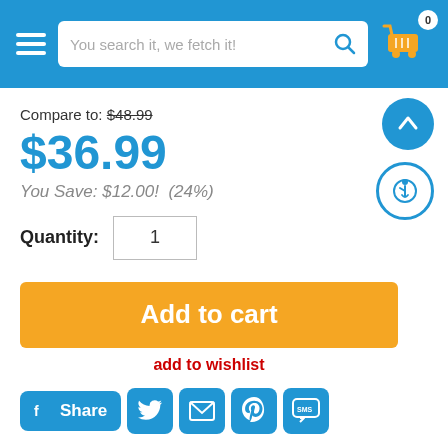[Figure (screenshot): E-commerce site header with hamburger menu, search bar reading 'You search it, we fetch it!', and a shopping cart icon with badge showing 0]
Compare to: $48.99
$36.99
You Save: $12.00!  (24%)
Quantity: 1
Add to cart
add to wishlist
Share